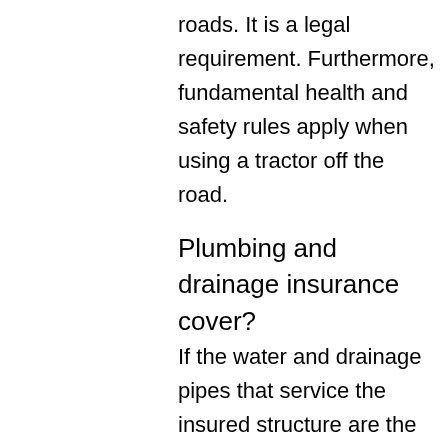roads. It is a legal requirement. Furthermore, fundamental health and safety rules apply when using a tractor off the road.
Plumbing and drainage insurance cover?
If the water and drainage pipes that service the insured structure are the policyholder's